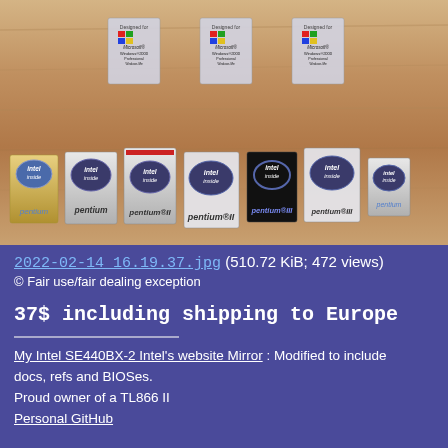[Figure (photo): Photo of vintage computer stickers on a wooden surface. Top row: three Microsoft Windows 2000 Professional 'Designed for' stickers. Bottom row: seven Intel Inside Pentium/Pentium II/Pentium III stickers in various styles including gold, silver, and black versions.]
2022-02-14 16.19.37.jpg (510.72 KiB; 472 views)
© Fair use/fair dealing exception
37$ including shipping to Europe
My Intel SE440BX-2 Intel's website Mirror: Modified to include docs, refs and BIOSes.
Proud owner of a TL866 II
Personal GitHub